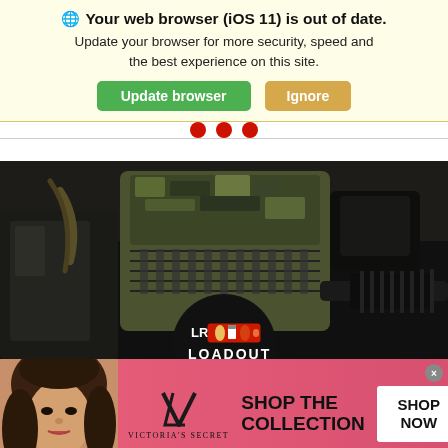🌐 Your web browser (iOS 11) is out of date. Update your browser for more security, speed and the best experience on this site.
Update browser | Ignore
[Figure (photo): Hero image of military/tactical gear including camouflage plate carrier, rifle with suppressor, and other equipment on a dark surface. Overlaid with a circular Loadout logo (LR with bullet/ammo icon graphic in red inside a red rectangle, white text LOADOUT below).]
[Figure (infographic): Victoria's Secret advertisement banner with pink background, woman model on left, VS logo in center, text SHOP THE COLLECTION, and white SHOP NOW button on right. Small X close button in top right corner.]